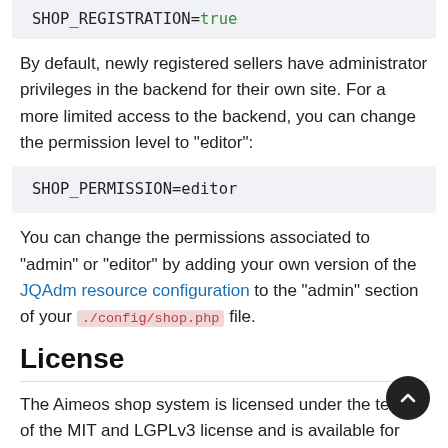SHOP_REGISTRATION=true
By default, newly registered sellers have administrator privileges in the backend for their own site. For a more limited access to the backend, you can change the permission level to "editor":
SHOP_PERMISSION=editor
You can change the permissions associated to "admin" or "editor" by adding your own version of the JQAdm resource configuration to the "admin" section of your ./config/shop.php file.
License
The Aimeos shop system is licensed under the terms of the MIT and LGPLv3 license and is available for